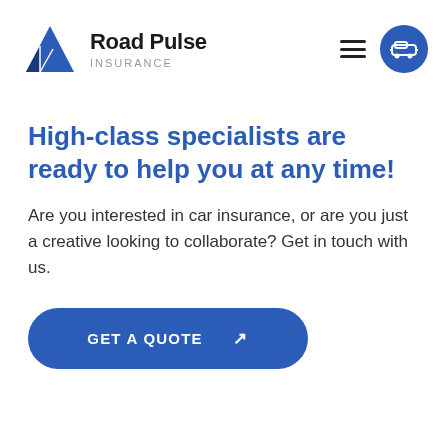[Figure (logo): Road Pulse Insurance logo with blue triangle/road graphic and company name]
High-class specialists are ready to help you at any time!
Are you interested in car insurance, or are you just a creative looking to collaborate? Get in touch with us.
GET A QUOTE ↗